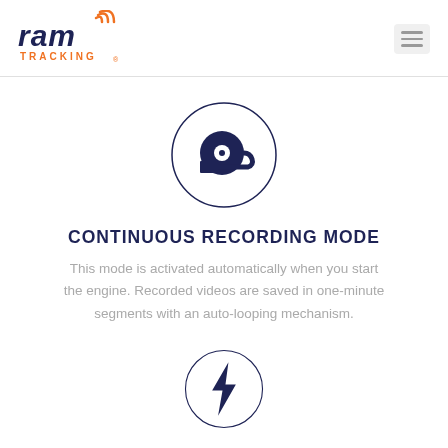[Figure (logo): RAM Tracking logo with orange wifi signal icon above ram text and orange TRACKING text below]
[Figure (illustration): Circle icon containing a film reel/tape roll symbol in dark navy blue]
CONTINUOUS RECORDING MODE
This mode is activated automatically when you start the engine. Recorded videos are saved in one-minute segments with an auto-looping mechanism.
[Figure (illustration): Circle icon containing a lightning bolt symbol in dark navy blue, partially visible at bottom of page]